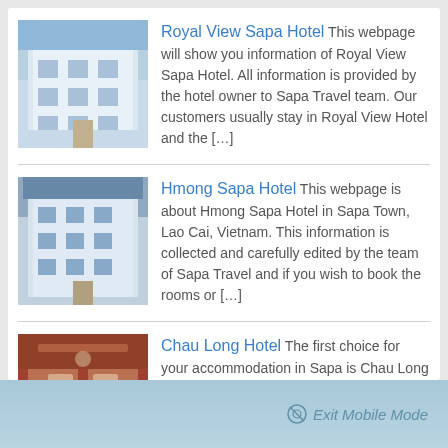Royal View Sapa Hotel This webpage will show you information of Royal View Sapa Hotel. All information is provided by the hotel owner to Sapa Travel team. Our customers usually stay in Royal View Hotel and the [...]
Hmong Sapa Hotel This webpage is about Hmong Sapa Hotel in Sapa Town, Lao Cai, Vietnam. This information is collected and carefully edited by the team of Sapa Travel and if you wish to book the rooms or [...]
Chau Long Hotel The first choice for your accommodation in Sapa is Chau Long Hotel because of the view to Fansipan Mountain and it propositional services and staff. Our Sapa travel team has come to the [...]
Exit Mobile Mode